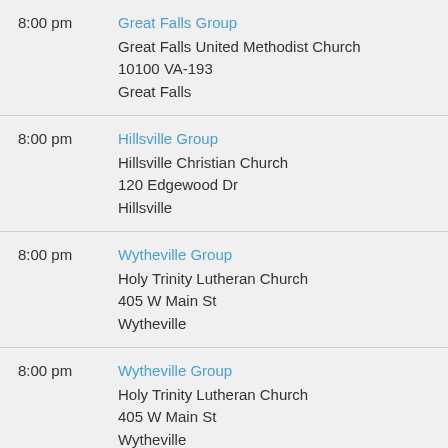8:00 pm — Great Falls Group, Great Falls United Methodist Church, 10100 VA-193, Great Falls
8:00 pm — Hillsville Group, Hillsville Christian Church, 120 Edgewood Dr, Hillsville
8:00 pm — Wytheville Group, Holy Trinity Lutheran Church, 405 W Main St, Wytheville
8:00 pm — Wytheville Group, Holy Trinity Lutheran Church, 405 W Main St, Wytheville
8:00 pm — Hay Una Solucion, JDI Central Office